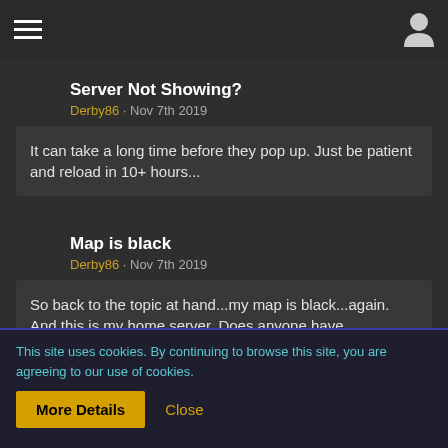≡ [hamburger menu] [user icon]
Server Not Showing?
Derby86 · Nov 7th 2019
It can take a long time before they pop up. Just be patient and reload in 10+ hours...
Map is black
Derby86 · Nov 7th 2019
So back to the topic at hand...my map is black...again. And this is my home server. Does anyone have suggestions?
This site uses cookies. By continuing to browse this site, you are agreeing to our use of cookies.